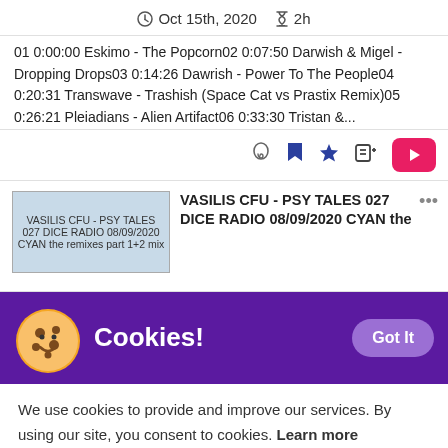Oct 15th, 2020  2h
01 0:00:00 Eskimo - The Popcorn02 0:07:50 Darwish & Migel - Dropping Drops03 0:14:26 Dawrish - Power To The People04 0:20:31 Transwave - Trashish (Space Cat vs Prastix Remix)05 0:26:21 Pleiadians - Alien Artifact06 0:33:30 Tristan &...
[Figure (screenshot): VASILIS CFU - PSY TALES 027 DICE RADIO 08/09/2020 CYAN the remixes part 1+2 mix thumbnail image placeholder]
VASILIS CFU - PSY TALES 027 DICE RADIO 08/09/2020 CYAN the
Cookies!
We use cookies to provide and improve our services. By using our site, you consent to cookies. Learn more